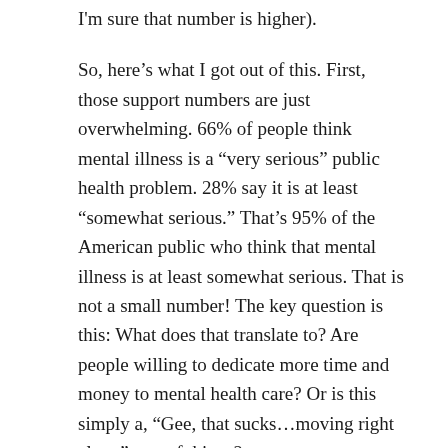I'm sure that number is higher).
So, here’s what I got out of this. First, those support numbers are just overwhelming. 66% of people think mental illness is a “very serious” public health problem. 28% say it is at least “somewhat serious.” That’s 95% of the American public who think that mental illness is at least somewhat serious. That is not a small number! The key question is this: What does that translate to? Are people willing to dedicate more time and money to mental health care? Or is this simply a, “Gee, that sucks…moving right along” sort of things?
At the bare minimum, it is good to know that people understand just what a major problem mental illness is.